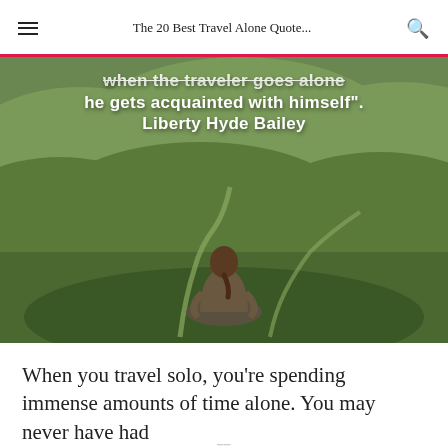The 20 Best Travel Alone Quote...
[Figure (photo): Person with ponytail sitting on a rock overlooking green rolling hills with winding paths. White handwritten-style text overlay reads: 'when the traveler goes alone he gets acquainted with himself. Liberty Hyde Bailey']
When you travel solo, you’re spending immense amounts of time alone. You may never have had